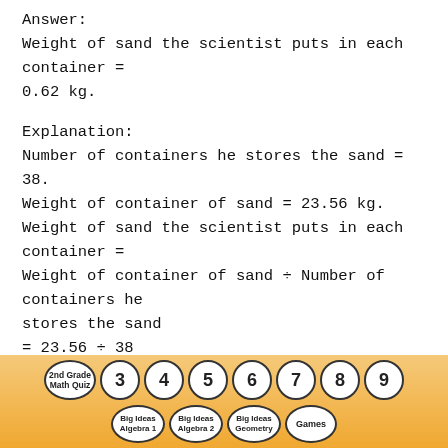Answer:
Weight of sand the scientist puts in each container = 0.62 kg.
Explanation:
Number of containers he stores the sand = 38.
Weight of container of sand = 23.56 kg.
Weight of sand the scientist puts in each container = Weight of container of sand ÷ Number of containers he stores the sand
= 23.56 ÷ 38
= 0.62 kg.
[Figure (other): Navigation footer with oval/circle buttons: 2nd Grade Math Quiz, 3, 4, 5, 6, 7, 8, 9 (top row); Big Ideas Algebra 1, Big Ideas Algebra 2, Big Ideas Geometry, Games (bottom row) on an orange gradient background.]